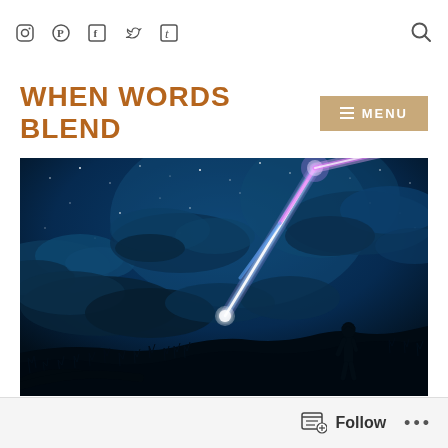Social icons: Instagram, Pinterest, Facebook, Twitter, Tumblr; Search icon
WHEN WORDS BLEND
[Figure (illustration): Anime-style illustration of a night sky scene featuring a glowing comet/shooting star streaking across a deep blue cloudy sky with stars. A lone silhouetted figure stands on a dark hill/grass field in the lower right, watching the sky.]
Follow ...